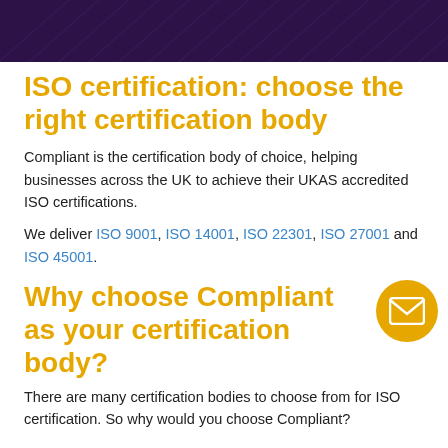[Figure (illustration): Dark purple header banner with diagonal line texture pattern]
ISO certification: choose the right certification body
Compliant is the certification body of choice, helping businesses across the UK to achieve their UKAS accredited ISO certifications.
We deliver ISO 9001, ISO 14001, ISO 22301, ISO 27001 and ISO 45001.
Why choose Compliant as your certification body?
There are many certification bodies to choose from for ISO certification. So why would you choose Compliant?